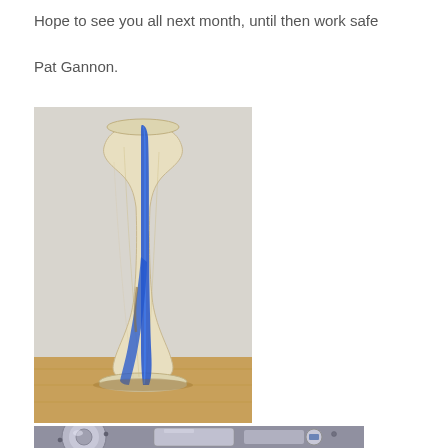Hope to see you all next month, until then work safe
Pat Gannon.
[Figure (photo): A tall wooden vase with blue resin/epoxy inlay stripe running vertically, sitting on a wooden surface against a light gray wall]
[Figure (photo): Close-up of metallic/chrome mechanical part, possibly a lathe chuck or similar woodturning equipment]